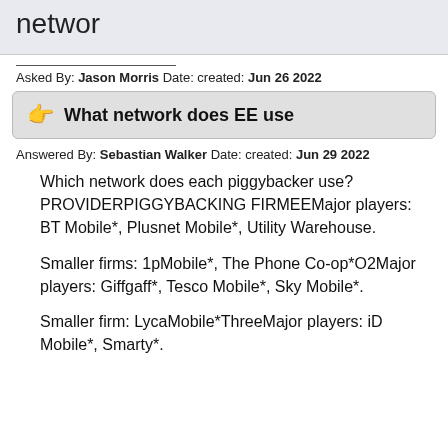networ
Asked By: Jason Morris Date: created: Jun 26 2022
What network does EE use
Answered By: Sebastian Walker Date: created: Jun 29 2022
Which network does each piggybacker use?PROVIDERPIGGYBACKING FIRMEEMajor players: BT Mobile*, Plusnet Mobile*, Utility Warehouse.
Smaller firms: 1pMobile*, The Phone Co-op*O2Major players: Giffgaff*, Tesco Mobile*, Sky Mobile*.
Smaller firm: LycaMobile*ThreeMajor players: iD Mobile*, Smarty*.